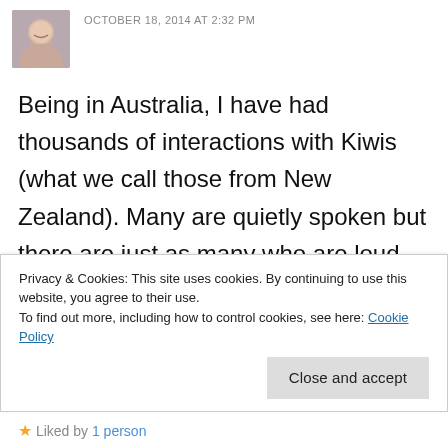[Figure (photo): Small avatar photo of a smiling woman]
OCTOBER 18, 2014 AT 2:32 PM
Being in Australia, I have had thousands of interactions with Kiwis (what we call those from New Zealand). Many are quietly spoken but there are just as many who are loud and brash. Yesterday we had an entertaining conversation with a loud Maori salesperson who became
Privacy & Cookies: This site uses cookies. By continuing to use this website, you agree to their use.
To find out more, including how to control cookies, see here: Cookie Policy
Close and accept
Liked by 1 person